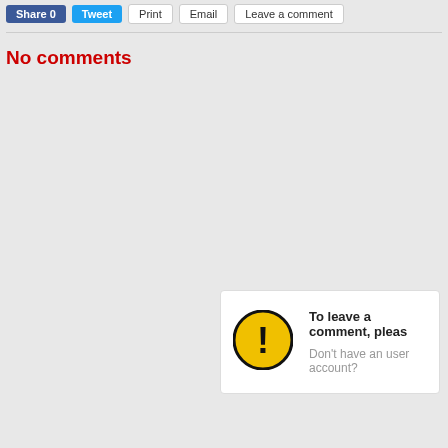[Figure (screenshot): Social sharing buttons row: Share, Tweet, Print, Email, Leave a comment]
No comments
[Figure (infographic): Comment prompt box with warning icon saying 'To leave a comment, pleas...' and 'Don't have an user account?']